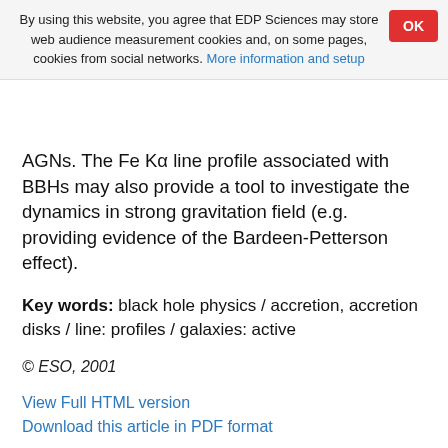By using this website, you agree that EDP Sciences may store web audience measurement cookies and, on some pages, cookies from social networks. More information and setup
AGNs. The Fe Kα line profile associated with BBHs may also provide a tool to investigate the dynamics in strong gravitation field (e.g. providing evidence of the Bardeen-Petterson effect).
Key words: black hole physics / accretion, accretion disks / line: profiles / galaxies: active
© ESO, 2001
View Full HTML version
Download this article in PDF format